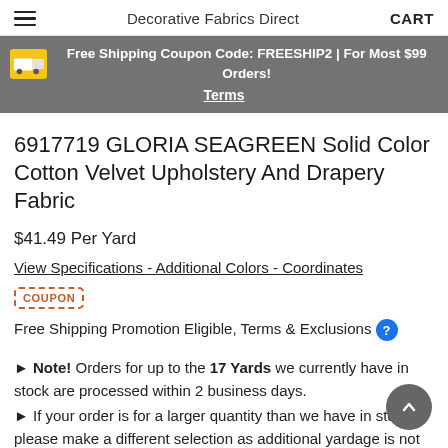Decorative Fabrics Direct  CART
Free Shipping Coupon Code: FREESHIP2 | For Most $99 Orders! Terms
6917719 GLORIA SEAGREEN Solid Color Cotton Velvet Upholstery And Drapery Fabric
$41.49 Per Yard
View Specifications - Additional Colors - Coordinates
COUPON  Free Shipping Promotion Eligible, Terms & Exclusions ?
► Note! Orders for up to the 17 Yards we currently have in stock are processed within 2 business days.
► If your order is for a larger quantity than we have in stock please make a different selection as additional yardage is not